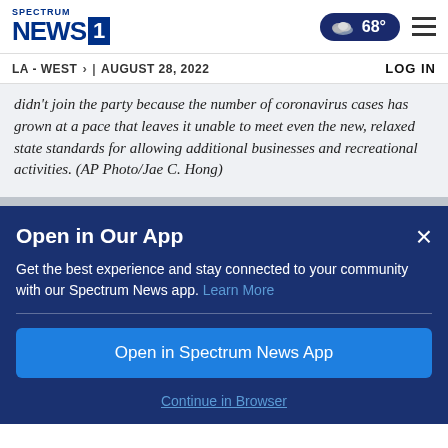Spectrum News 1 | LA - WEST | AUGUST 28, 2022 | 68° | LOG IN
didn't join the party because the number of coronavirus cases has grown at a pace that leaves it unable to meet even the new, relaxed state standards for allowing additional businesses and recreational activities. (AP Photo/Jae C. Hong)
Open in Our App
Get the best experience and stay connected to your community with our Spectrum News app. Learn More
Open in Spectrum News App
Continue in Browser